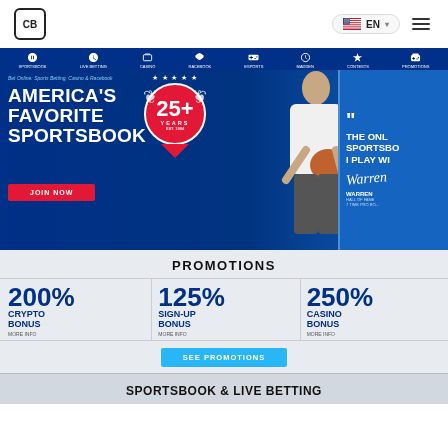CB | EN
[Figure (screenshot): Sports betting website hero banner for 'America's Favorite Sportsbook' with navigation icons (Sportsbook, Live Betting, Casino, Racebook, Esports, Madden, Contests, Promotions), a 25+ Years badge in red, Warren Moon endorsement on right, and a JOIN NOW button in red.]
PROMOTIONS
200% CRYPTO BONUS | 125% SIGN-UP BONUS | 250% CASINO BONUS
SEE PROMOTIONS
SPORTSBOOK & LIVE BETTING